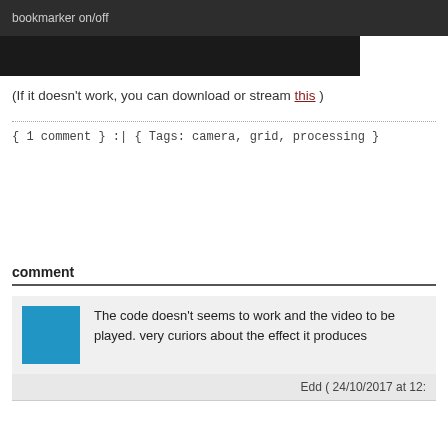bookmarker on/off
[Figure (other): Dark video embed block]
(If it doesn’t work, you can download or stream this )
{ 1 comment } :| { Tags: camera, grid, processing }
comment
The code doesn’t seems to work and the video to be played. very curiors about the effect it produces
Edd ( 24/10/2017 at 12: